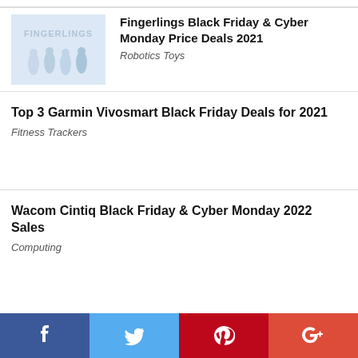[Figure (illustration): Fingerlings branded product image with light blue background showing small figures]
Fingerlings Black Friday & Cyber Monday Price Deals 2021
Robotics Toys
Top 3 Garmin Vivosmart Black Friday Deals for 2021
Fitness Trackers
Wacom Cintiq Black Friday & Cyber Monday 2022 Sales
Computing
[Figure (infographic): Social media share bar with Facebook, Twitter, Pinterest, and Google+ buttons]